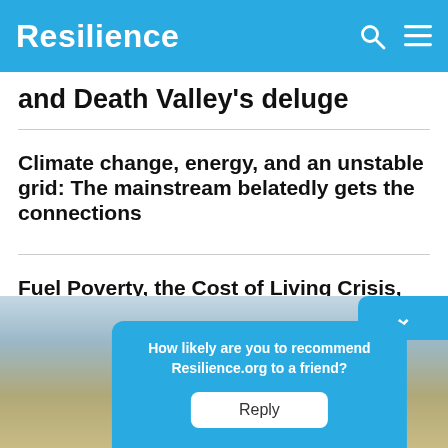Resilience
and Death Valley's deluge
Climate change, energy, and an unstable grid: The mainstream belatedly gets the connections
Fuel Poverty, the Cost of Living Crisis, and Climate Change: A Data Blog
[Figure (photo): Landscape photo showing a body of water or flooded valley area with mountains in the background]
How likely are you to recommend Resilience.org to a friend?
Reply